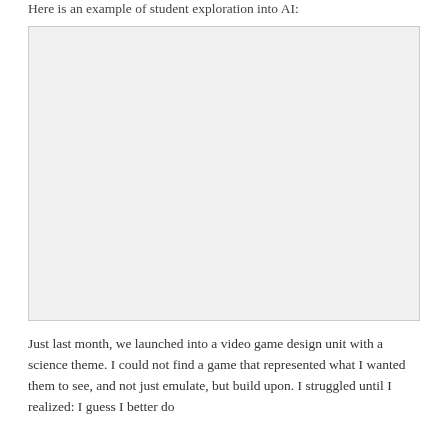Here is an example of student exploration into AI:
[Figure (photo): A large light gray blank image placeholder box with a light border]
Just last month, we launched into a video game design unit with a science theme. I could not find a game that represented what I wanted them to see, and not just emulate, but build upon. I struggled until I realized: I guess I better do